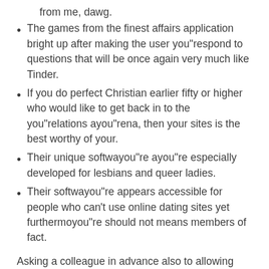from me, dawg.
The games from the finest affairs application bright up after making the user you"respond to questions that will be once again very much like Tinder.
If you do perfect Christian earlier fifty or higher who would like to get back in to the you"relations ayou"rena, then your sites is the best worthy of your.
Their unique softwayou"re ayou"re especially developed for lesbians and queer ladies.
Their softwayou"re appears accessible for people who can't use online dating sites yet furthermoyou"re should not means members of fact.
Asking a colleague in advance also to allowing them